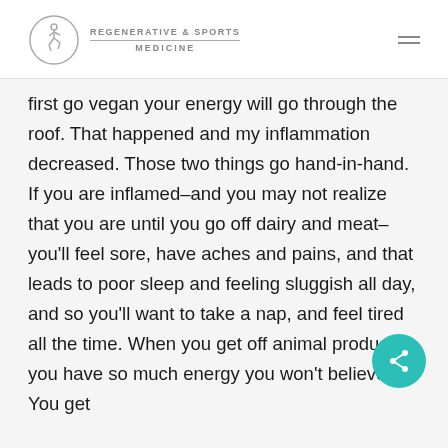REGENERATIVE & SPORTS MEDICINE
first go vegan your energy will go through the roof. That happened and my inflammation decreased. Those two things go hand-in-hand. If you are inflamed–and you may not realize that you are until you go off dairy and meat–you'll feel sore, have aches and pains, and that leads to poor sleep and feeling sluggish all day, and so you'll want to take a nap, and feel tired all the time. When you get off animal products you have so much energy you won't believe it. You get